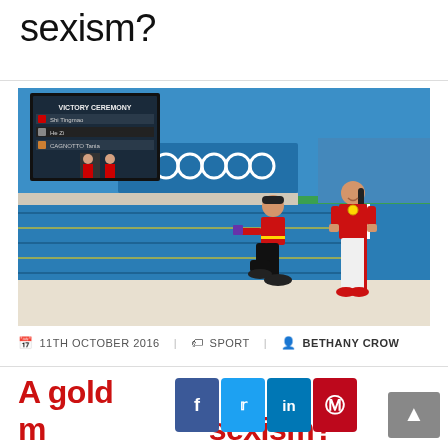sexism?
[Figure (photo): A man kneeling on one knee proposing to a female Chinese Olympic diver (wearing a gold medal and red/white tracksuit) at the Rio 2016 Olympic aquatics venue. An Olympic rings banner is visible on the pool wall, and a large video screen shows a Victory Ceremony scoreboard in the background.]
11TH OCTOBER 2016  SPORT  BETHANY CROW
A gold m…sexism?